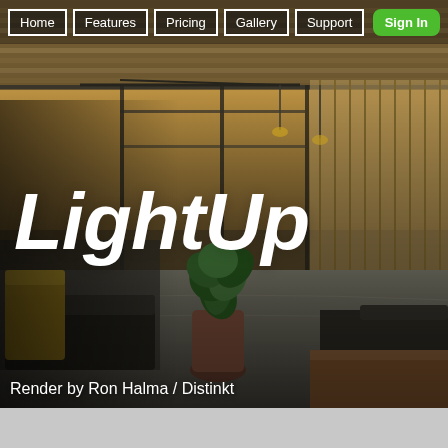Home | Features | Pricing | Gallery | Support | Sign In
[Figure (photo): 3D architectural render of a modern open-plan interior lounge/restaurant space with warm lighting, tropical plants, wooden slat ceiling, dark furniture, and a reflective floor. Rendered by Ron Halma / Distinkt.]
LightUp
Render by Ron Halma / Distinkt